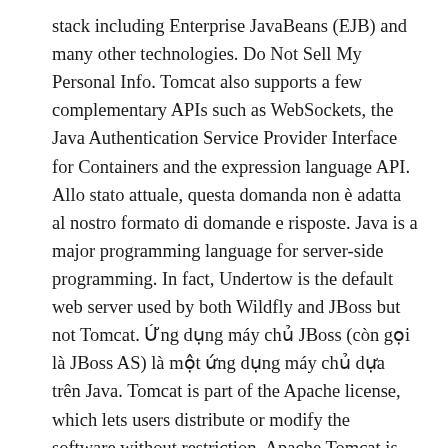stack including Enterprise JavaBeans (EJB) and many other technologies. Do Not Sell My Personal Info. Tomcat also supports a few complementary APIs such as WebSockets, the Java Authentication Service Provider Interface for Containers and the expression language API. Allo stato attuale, questa domanda non è adatta al nostro formato di domande e risposte. Java is a major programming language for server-side programming. In fact, Undertow is the default web server used by both Wildfly and JBoss but not Tomcat. Ứng dụng máy chủ JBoss (còn gọi là JBoss AS) là một ứng dụng máy chủ dựa trên Java. Tomcat is part of the Apache license, which lets users distribute or modify the software without restriction. Apache Tomcat is an open source tool with 3.51K GitHub stars and 2.4K GitHub forks. This article discusses the difference between JBoss and Tomcat. In particular, Tomcat is an app server with a built-in web (HTTP) server; does JBOSS require an external